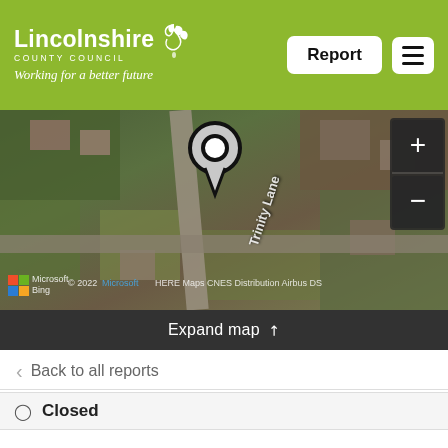Lincolnshire County Council — Working for a better future | Report
[Figure (map): Aerial satellite map view showing Trinity Lane location with a map pin marker. Map controls (+ and -) visible on right. Microsoft Bing map attribution shown. © 2022 Microsoft HERE Maps CNES Distribution Airbus DS.]
Expand map ↗
‹ Back to all reports
Closed
Large pothole on entrance to trinity lane
Reported via desktop in the Pothole on road/cycleway category